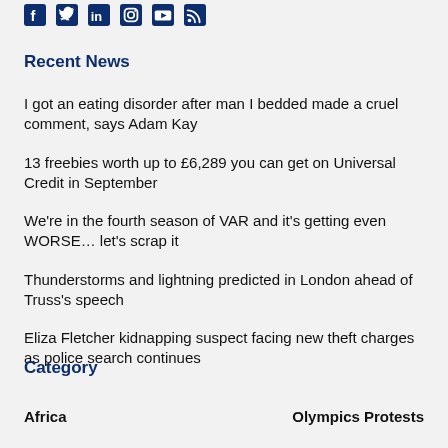[Figure (other): Social media icons row: Facebook, Twitter, LinkedIn, Instagram, YouTube, RSS]
Recent News
I got an eating disorder after man I bedded made a cruel comment, says Adam Kay
13 freebies worth up to £6,289 you can get on Universal Credit in September
We're in the fourth season of VAR and it's getting even WORSE… let's scrap it
Thunderstorms and lightning predicted in London ahead of Truss's speech
Eliza Fletcher kidnapping suspect facing new theft charges as police search continues
Category
Africa    Olympics Protests